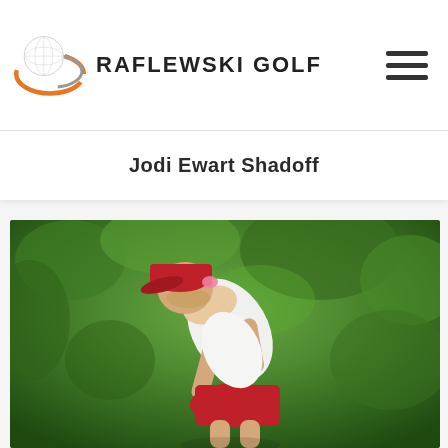Raflewski Golf
Jodi Ewart Shadoff
[Figure (photo): Female golfer wearing a red cap and white sleeveless top with red skirt, bent forward in a golf swing follow-through pose, with green foliage background. Player is Jodi Ewart Shadoff.]